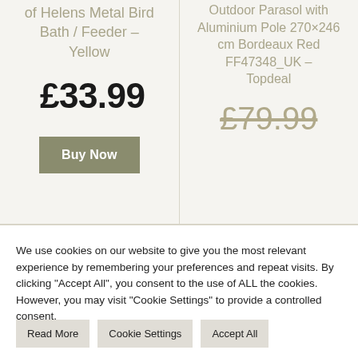of Helens Metal Bird Bath / Feeder – Yellow
£33.99
Buy Now
Outdoor Parasol with Aluminium Pole 270×246 cm Bordeaux Red FF47348_UK – Topdeal
£79.99
We use cookies on our website to give you the most relevant experience by remembering your preferences and repeat visits. By clicking "Accept All", you consent to the use of ALL the cookies. However, you may visit "Cookie Settings" to provide a controlled consent.
Read More
Cookie Settings
Accept All